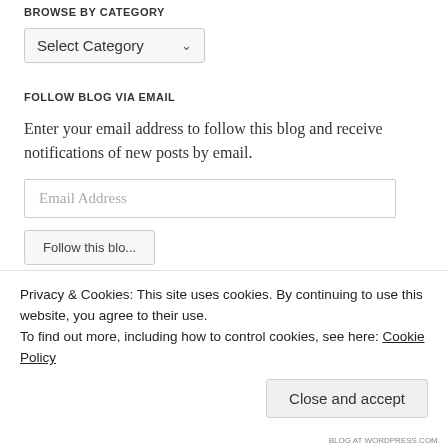BROWSE BY CATEGORY
[Figure (screenshot): Dropdown select box with 'Select Category' label and a chevron arrow]
FOLLOW BLOG VIA EMAIL
Enter your email address to follow this blog and receive notifications of new posts by email.
[Figure (screenshot): Email Address input field (text input box)]
[Figure (screenshot): Follow this blog button (partially visible)]
Privacy & Cookies: This site uses cookies. By continuing to use this website, you agree to their use.
To find out more, including how to control cookies, see here: Cookie Policy
[Figure (screenshot): Close and accept button]